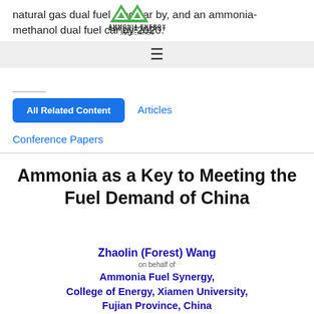natural gas dual fueled car by, and an ammonia-methanol dual fuel car by 2020.
[Figure (logo): Ammonia Energy Association logo: green triangle with text AMMONIA ENERGY ASSOCIATION]
AMMONIA ENERGY ASSOCIATION
All Related Content
Articles
Conference Papers
Ammonia as a Key to Meeting the Fuel Demand of China
Zhaolin (Forest) Wang
on behalf of
Ammonia Fuel Synergy,
College of Energy, Xiamen University,
Fujian Province, China